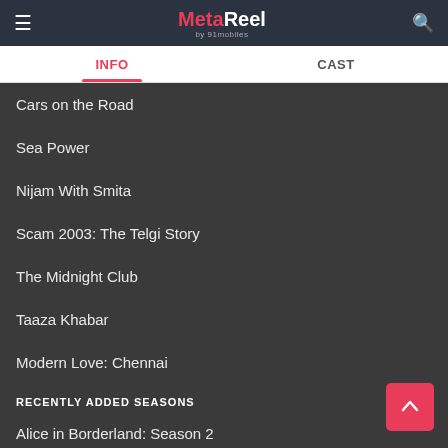MetaReel by 91mobiles
INFO | CAST
Cars on the Road
Sea Power
Nijam With Smita
Scam 2003: The Telgi Story
The Midnight Club
Taaza Khabar
Modern Love: Chennai
RECENTLY ADDED SEASONS
Alice in Borderland: Season 2
Squid Game: Season 2
Rocket Boys Season 2